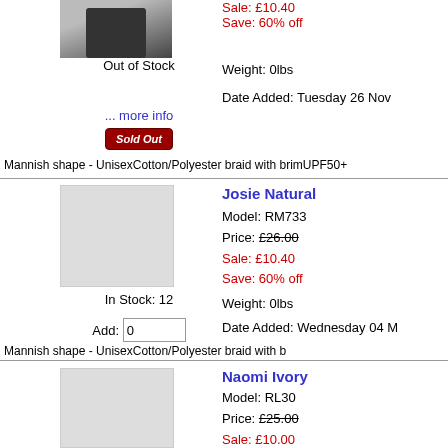[Figure (photo): Product photo of a hat, partially visible at top]
Sale: £10.40
Save: 60% off
Out of Stock
Weight: 0lbs
Date Added: Tuesday 26 Nov
... more info
[Figure (other): Sold Out button]
Mannish shape - UnisexCotton/Polyester braid with trimUPF50+
Josie Natural
Model: RM733
Price: £26.00
Sale: £10.40
Save: 60% off
In Stock: 12
Weight: 0lbs
Date Added: Wednesday 04 M
Add:
Mannish shape - UnisexCotton/Polyester braid with
Naomi Ivory
Model: RL30
Price: £25.00
Sale: £10.00
Save: 60% off
In Stock: 3
Weight: 0lbs
Date Added: Wednesday 04 M
Add: